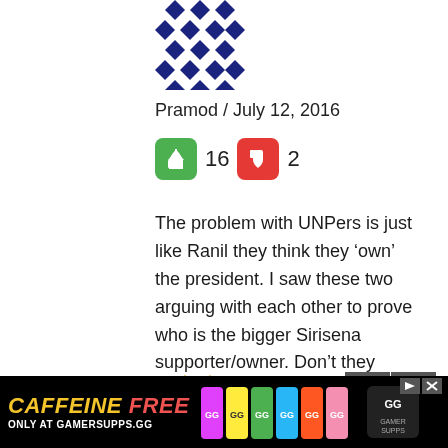[Figure (illustration): Diamond/cross pattern avatar icon in dark blue]
Pramod / July 12, 2016
[Figure (infographic): Green thumbs-up button with count 16 and red thumbs-down button with count 2]
The problem with UNPers is just like Ranil they think they ‘own’ the president. I saw these two arguing with each other to prove who is the bigger Sirisena supporter/owner. Don’t they realize that the bigger the Sirisena supporter the bigger the naive idiot you become?
[Figure (illustration): Partial avatar icon for next comment, gold/triangular pattern]
[Figure (advertisement): Caffeine Free ad banner for GamerSupps.gg showing colorful supplement cans]